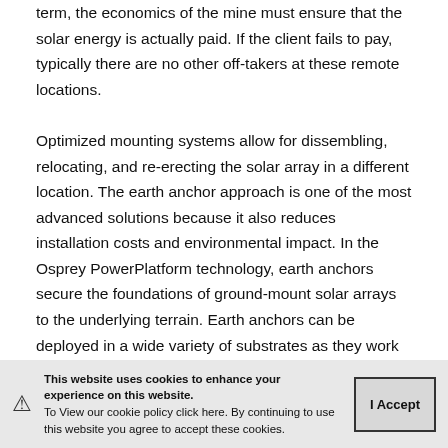term, the economics of the mine must ensure that the solar energy is actually paid. If the client fails to pay, typically there are no other off-takers at these remote locations.
Optimized mounting systems allow for dissembling, relocating, and re-erecting the solar array in a different location. The earth anchor approach is one of the most advanced solutions because it also reduces installation costs and environmental impact. In the Osprey PowerPlatform technology, earth anchors secure the foundations of ground-mount solar arrays to the underlying terrain. Earth anchors can be deployed in a wide variety of substrates as they work in virtually any type of soil, on any site—even under the most challenging of conditions, such as in desert hardpan, rocky ground, permafrost, or most latitudes. The earth anchors are designed to withstand extreme ice radiating
This website uses cookies to enhance your experience on this website. To View our cookie policy click here. By continuing to use this website you agree to accept these cookies.